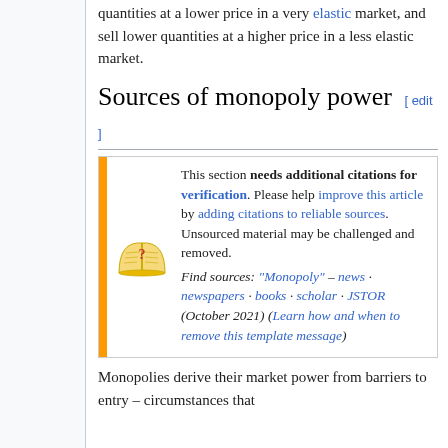quantities at a lower price in a very elastic market, and sell lower quantities at a higher price in a less elastic market.
Sources of monopoly power [ edit ]
This section needs additional citations for verification. Please help improve this article by adding citations to reliable sources. Unsourced material may be challenged and removed. Find sources: "Monopoly" – news · newspapers · books · scholar · JSTOR (October 2021) (Learn how and when to remove this template message)
Monopolies derive their market power from barriers to entry – circumstances that